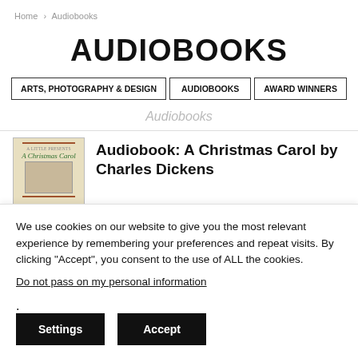Home > Audiobooks
AUDIOBOOKS
ARTS, PHOTOGRAPHY & DESIGN
AUDIOBOOKS
AWARD WINNERS
Audiobooks
[Figure (illustration): Book cover of A Christmas Carol with decorative border and vintage illustration]
Audiobook: A Christmas Carol by Charles Dickens
We use cookies on our website to give you the most relevant experience by remembering your preferences and repeat visits. By clicking “Accept”, you consent to the use of ALL the cookies.
Do not pass on my personal information.
Settings  Accept